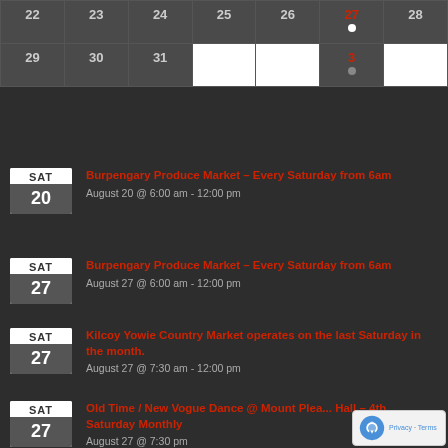| 22 | 23 | 24 | 25 | 26 | 27 | 28 |
| --- | --- | --- | --- | --- | --- | --- |
| 22 | 23 | 24 | 25 | 26 | 27 | 28 |
| 29 | 30 | 31 |  |  | 3 |  |
SAT 20 – Burpengary Produce Market – Every Saturday from 6am – August 20 @ 6:00 am - 12:00 pm
SAT 27 – Burpengary Produce Market – Every Saturday from 6am – August 27 @ 6:00 am - 12:00 pm
SAT 27 – Kilcoy Yowie Country Market operates on the last Saturday in the month. – August 27 @ 7:30 am - 12:00 pm
SAT 27 – Old Time / New Vogue Dance @ Mount Plea... Hall – 4th Saturday Monthly – August 27 @ 7:30 pm